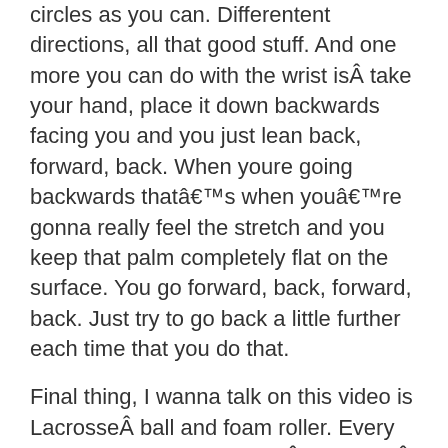circles as you can. Differentent directions, all that good stuff. And one more you can do with the wrist isÂ take your hand, place it down backwards facing you and you just lean back, forward, back. When youre going backwards thatâ€™s when youâ€™re gonna really feel the stretch and you keep that palm completely flat on the surface. You go forward, back, forward, back. Just try to go back a little further each time that you do that.
Final thing, I wanna talk on this video is LacrosseÂ ball and foam roller. Every single person should haveÂ LacrosseÂ ball. You can start with the tennis ball that will be the easier version. Its not as hard. If youâ€™ve never done stuff like this then I would say just start with a tennis ball. Foam roller, everybody should have one of these, you can have this at the office. Donâ€™t be afraid to use your foam roller in the office. Thereâ€™s some office space in the